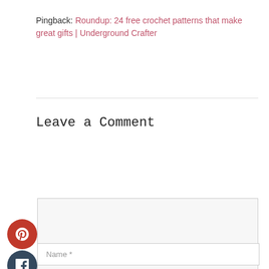Pingback: Roundup: 24 free crochet patterns that make great gifts | Underground Crafter
Leave a Comment
[Figure (other): Social share buttons: Pinterest (red circle with P icon), Facebook (dark blue circle with f icon), Twitter (light blue circle with bird icon), stacked vertically on the left side of the page]
Comment textarea (empty input field)
Name *